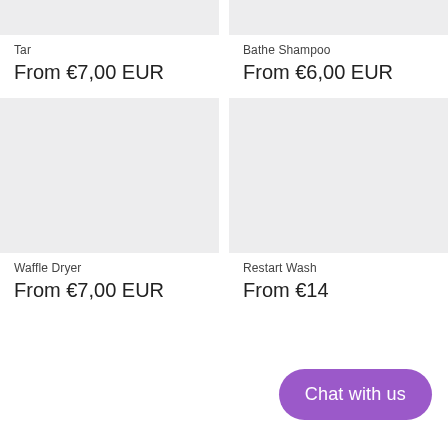[Figure (photo): Top partial product image placeholder (gray), left column — Tar product]
[Figure (photo): Top partial product image placeholder (gray), right column — Bathe Shampoo product]
Tar
From €7,00 EUR
Bathe Shampoo
From €6,00 EUR
[Figure (photo): Product image placeholder (gray) for Waffle Dryer]
[Figure (photo): Product image placeholder (gray) for Restart Wash]
Waffle Dryer
From €7,00 EUR
Restart Wash
From €14...
Chat with us